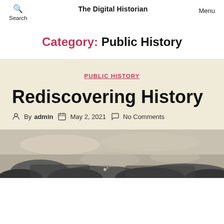Search  The Digital Historian  Menu
Category: Public History
PUBLIC HISTORY
Rediscovering History
By admin  May 2, 2021  No Comments
[Figure (illustration): A historical engraving or illustration showing a landscape scene in black and white/grayscale.]